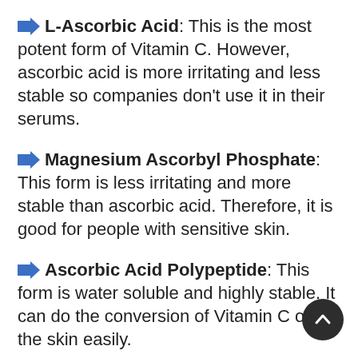➜ L-Ascorbic Acid: This is the most potent form of Vitamin C. However, ascorbic acid is more irritating and less stable so companies don't use it in their serums.
➜ Magnesium Ascorbyl Phosphate: This form is less irritating and more stable than ascorbic acid. Therefore, it is good for people with sensitive skin.
➜ Ascorbic Acid Polypeptide: This form is water soluble and highly stable. It can do the conversion of Vitamin C on the skin easily.
➜ Ascorbic Palmitate: This is one of the most common derivatives of Vitamin C that you can see in many skin care products. It is not only non-irritating but also highly effective in protecting skin